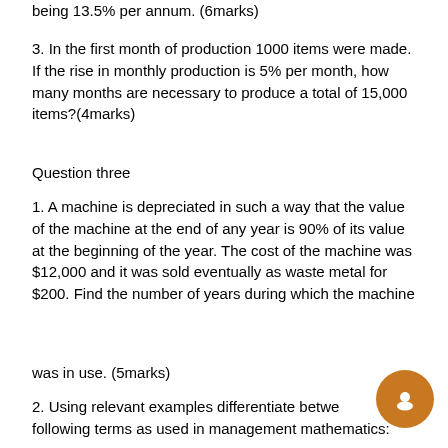being 13.5% per annum. (6marks)
3. In the first month of production 1000 items were made. If the rise in monthly production is 5% per month, how many months are necessary to produce a total of 15,000 items?(4marks)
Question three
1. A machine is depreciated in such a way that the value of the machine at the end of any year is 90% of its value at the beginning of the year. The cost of the machine was $12,000 and it was sold eventually as waste metal for $200. Find the number of years during which the machine
was in use. (5marks)
2. Using relevant examples differentiate between the following terms as used in management mathematics: